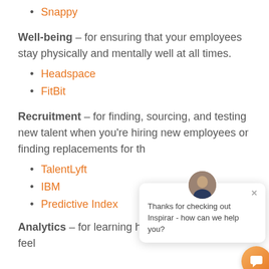Snappy
Well-being – for ensuring that your employees stay physically and mentally well at all times.
Headspace
FitBit
Recruitment – for finding, sourcing, and testing new talent when you're hiring new employees or finding replacements for th…
TalentLyft
IBM
Predictive Index
Analytics – for learning how your employees feel…
[Figure (other): Chat popup overlay with avatar photo, close button, and message: Thanks for checking out Inspirar - how can we help you? With orange chat button in bottom right.]